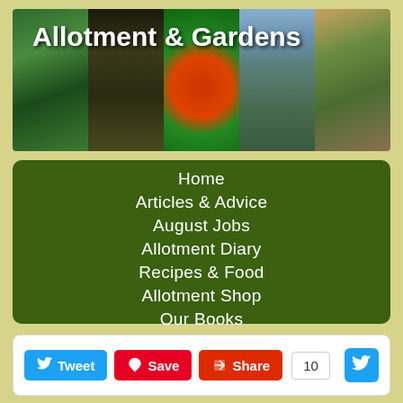[Figure (photo): Header banner with five garden/allotment photos showing plants, seeds, tomatoes, allotment overview, and a person gardening, with 'Allotment & Gardens' title overlay]
Allotment & Gardens
Home
Articles & Advice
August Jobs
Allotment Diary
Recipes & Food
Allotment Shop
Our Books
Chat & Help Forum
Chickens & Poultry
Tweet | Save | Share | 10